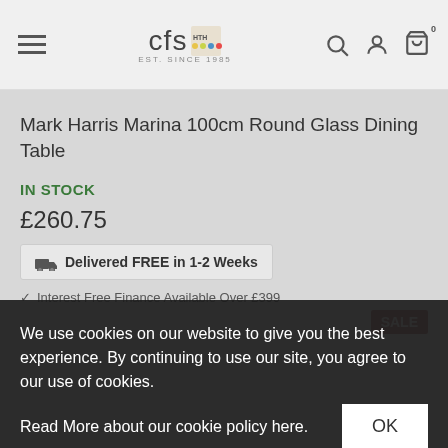CFS — EST. SINCE 1985 [navigation bar with hamburger menu, logo, search, account, cart icons]
Mark Harris Marina 100cm Round Glass Dining Table
IN STOCK
£260.75
Delivered FREE in 1-2 Weeks
Interest Free Finance Available Over £399
We use cookies on our website to give you the best experience. By continuing to use our site, you agree to our use of cookies.
Read More about our cookie policy here.
OK